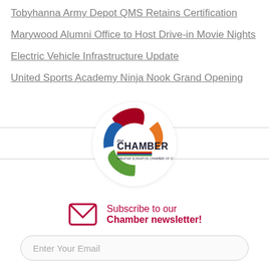Tobyhanna Army Depot QMS Retains Certification
Marywood Alumni Office to Host Drive-in Movie Nights
Electric Vehicle Infrastructure Update
United Sports Academy Ninja Nook Grand Opening
[Figure (logo): Greater Scranton Chamber of Commerce circular logo with colored swoosh shapes (red, orange, blue, green) and text 'the CHAMBER GREATER SCRANTON CHAMBER OF COMMERCE']
Subscribe to our Chamber newsletter!
Enter Your Email